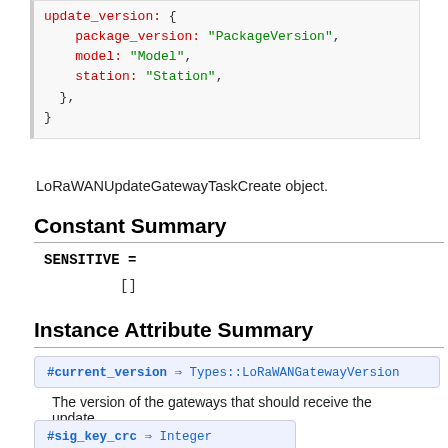[Figure (screenshot): Code block showing update_version object with package_version: 'PackageVersion', model: 'Model', station: 'Station' fields]
LoRaWANUpdateGatewayTaskCreate object.
Constant Summary
SENSITIVE =
[]
Instance Attribute Summary
#current_version ⇒ Types::LoRaWANGatewayVersion
The version of the gateways that should receive the update.
#sig_key_crc ⇒ Integer